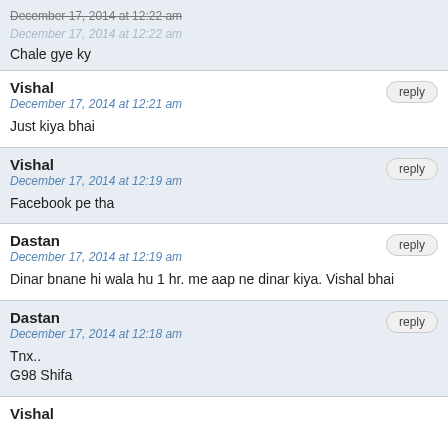Chale gye ky
Vishal
December 17, 2014 at 12:21 am
Just kiya bhai
Vishal
December 17, 2014 at 12:19 am
Facebook pe tha
Dastan
December 17, 2014 at 12:19 am
Dinar bnane hi wala hu 1 hr. me aap ne dinar kiya. Vishal bhai
Dastan
December 17, 2014 at 12:18 am
Tnx..
G98 Shifa
Vishal